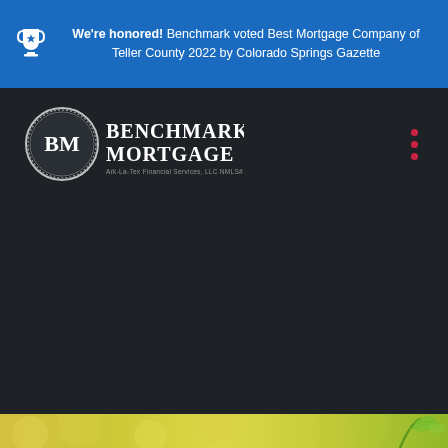We're honored! Benchmark voted Best Mortgage Company of Teller County 2022 by Colorado Springs Gazette
[Figure (logo): Benchmark Mortgage logo — circular BM emblem with text 'BENCHMARK MORTGAGE' and subtitle 'Ark-La-Tex Financial Services, LLC NMLS# 2143']
[Figure (photo): Blurred bokeh background showing a green plant seedling against a warm yellow-green out-of-focus background]